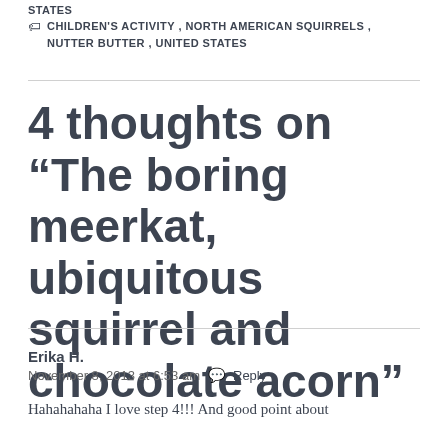STATES
CHILDREN'S ACTIVITY , NORTH AMERICAN SQUIRRELS , NUTTER BUTTER , UNITED STATES
4 thoughts on “The boring meerkat, ubiquitous squirrel and chocolate acorn”
Erika H.
November 8, 2013 at 6:53 am  Reply
Hahahahaha I love step 4!!! And good point about